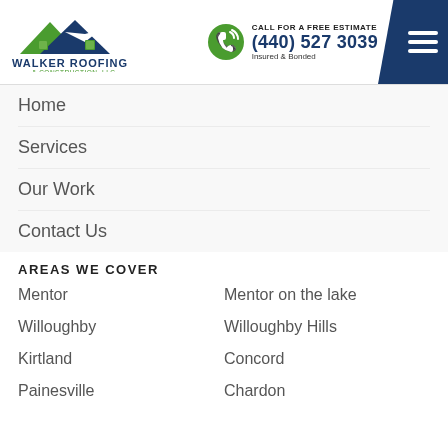[Figure (logo): Walker Roofing & Construction, LLC. logo with house/roof icon in blue and green]
CALL FOR A FREE ESTIMATE
(440) 527 3039
Insured & Bonded
Home
Services
Our Work
Contact Us
AREAS WE COVER
Mentor
Mentor on the lake
Willoughby
Willoughby Hills
Kirtland
Concord
Painesville
Chardon